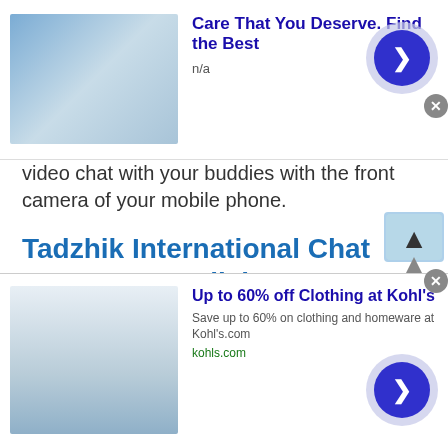[Figure (other): Top advertisement banner: image of medical professional on left, bold blue title 'Care That You Deserve. Find the Best', subtitle 'n/a', circular arrow button on right, close X button]
video chat with your buddies with the front camera of your mobile phone.
Tadzhik International Chat Rooms In English
Tadzhik International Chat rooms are in English so that everyone can easily talk and understand the conversation going on in the chat room. You need to be fluent in English to chat in this chat room because the people here are professionals and if you are not good at English then you will not be able to chat with people from different
[Figure (other): Bottom advertisement banner: Kohl's savings ad image on left, bold blue title 'Up to 60% off Clothing at Kohl's', subtitle 'Save up to 60% on clothing and homeware at Kohl's.com', URL 'kohls.com', circular arrow button on right, close X button, info icon]